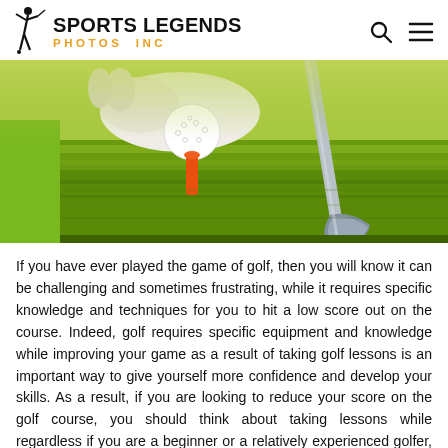SPORTS LEGENDS PHOTOS INC
[Figure (photo): Close-up of a golf ball on an orange tee with a gloved hand placing it, and a golf club iron in the background, on a green grass course]
If you have ever played the game of golf, then you will know it can be challenging and sometimes frustrating, while it requires specific knowledge and techniques for you to hit a low score out on the course. Indeed, golf requires specific equipment and knowledge while improving your game as a result of taking golf lessons is an important way to give yourself more confidence and develop your skills. As a result, if you are looking to reduce your score on the golf course, you should think about taking lessons while regardless if you are a beginner or a relatively experienced golfer, your game can benefit in a number of different ways as a result of